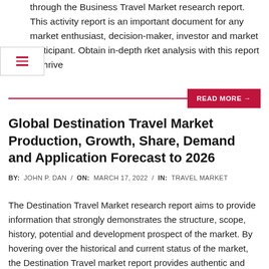through the Business Travel Market research report. This activity report is an important document for any market enthusiast, decision-maker, investor and market participant. Obtain in-depth rket analysis with this report to thrive
Global Destination Travel Market Production, Growth, Share, Demand and Application Forecast to 2026
BY: JOHN P. DAN / ON: MARCH 17, 2022 / IN: TRAVEL MARKET
The Destination Travel Market research report aims to provide information that strongly demonstrates the structure, scope, history, potential and development prospect of the market. By hovering over the historical and current status of the market, the Destination Travel market report provides authentic and reliable estimations for the forecast period. The